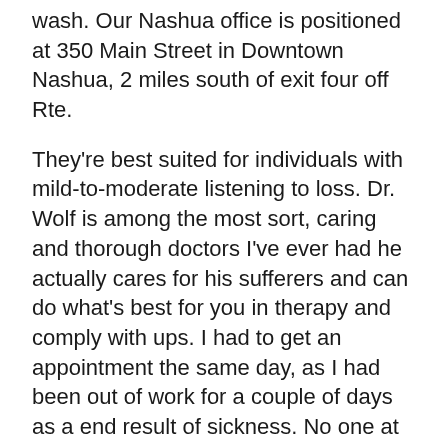wash. Our Nashua office is positioned at 350 Main Street in Downtown Nashua, 2 miles south of exit four off Rte.
They're best suited for individuals with mild-to-moderate listening to loss. Dr. Wolf is among the most sort, caring and thorough doctors I've ever had he actually cares for his sufferers and can do what's best for you in therapy and comply with ups. I had to get an appointment the same day, as I had been out of work for a couple of days as a end result of sickness. No one at my local medical doctors office could see me for that day however with ConvenientMD, I was able to just present up and be seen and diagnosed within an hour. They took my insurance and I solely needed to pay my ordinary copay for PCP. I felt more attention was given to than I've ever had at my medical doctors workplace.